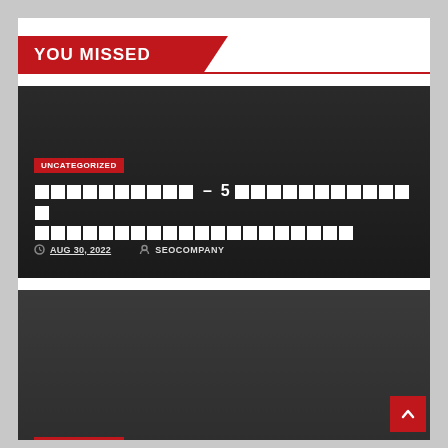YOU MISSED
[Figure (other): Dark card with UNCATEGORIZED badge, non-Latin title text in white boxes (unreadable characters), date AUG 30, 2022, author SEOCOMPANY]
[Figure (other): Dark grey card with UNCATEGORIZED badge, partially visible]